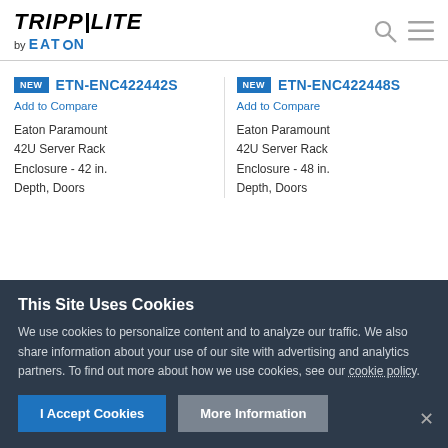TRIPP·LITE by EATON
NEW ETN-ENC422442S
Add to Compare
Eaton Paramount 42U Server Rack Enclosure - 42 in. Depth, Doors
NEW ETN-ENC422448S
Add to Compare
Eaton Paramount 42U Server Rack Enclosure - 48 in. Depth, Doors
This Site Uses Cookies
We use cookies to personalize content and to analyze our traffic. We also share information about your use of our site with advertising and analytics partners. To find out more about how we use cookies, see our cookie policy.
I Accept Cookies   More Information